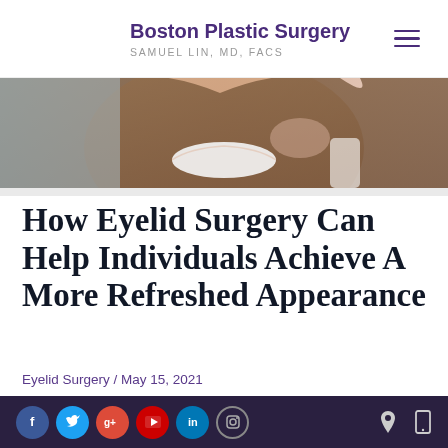Boston Plastic Surgery / SAMUEL LIN, MD, FACS
[Figure (photo): Close-up photo of a smiling woman with brown hair, showing white teeth]
How Eyelid Surgery Can Help Individuals Achieve A More Refreshed Appearance
Eyelid Surgery / May 15, 2021
[Figure (photo): Partial photo of a person at the bottom of the page]
Social media icons: Facebook, Twitter, Google+, YouTube, LinkedIn, Instagram; location and mobile icons